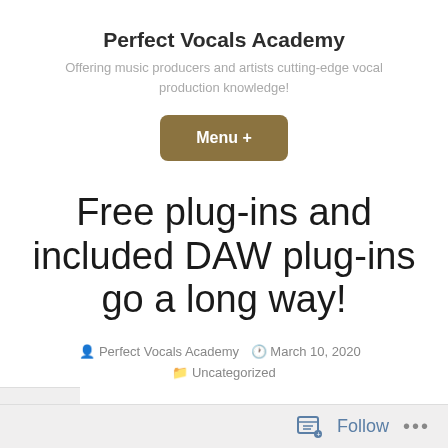Perfect Vocals Academy
Offering music producers and artists cutting-edge vocal production knowledge!
[Figure (other): Button labeled Menu +]
Free plug-ins and included DAW plug-ins go a long way!
Perfect Vocals Academy   March 10, 2020
Uncategorized
Follow ...